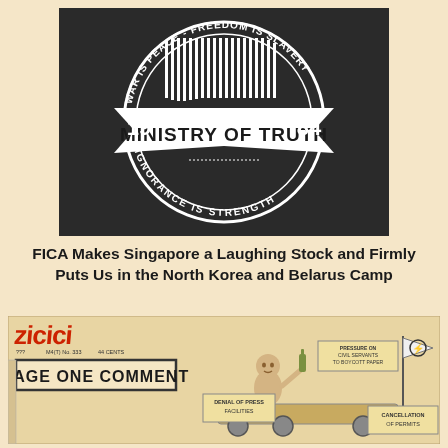[Figure (logo): Ministry of Truth 1984 logo: circular badge on black background with text 'WAR IS PEACE - FREEDOM IS SLAVERY' around the top arc, 'IGNORANCE IS STRENGTH' around the bottom arc, '19' and '84' on either side, and 'MINISTRY OF TRUTH' in bold across a banner in the center with vertical stripes above it.]
FICA Makes Singapore a Laughing Stock and Firmly Puts Us in the North Korea and Belarus Camp
[Figure (illustration): Vintage newspaper-style illustration showing 'PAGE ONE COMMENT' sign on the left, with a cartoon figure holding a bottle riding what appears to be a vehicle/tank, surrounded by signs reading 'PRESSURE ON CIVIL SERVANTS TO BOYCOTT PAPER', 'DENIAL OF PRESS FACILITIES', 'CANCELLATION OF PERMITS', and a flag with a lightning bolt symbol.]